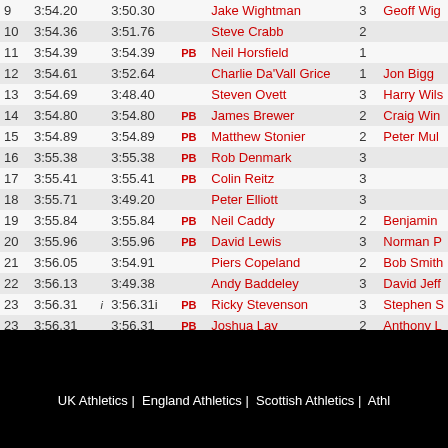| # | Time | i | PB Time | PB | Name | Num | Other |
| --- | --- | --- | --- | --- | --- | --- | --- |
| 9 | 3:54.20 |  | 3:50.30 |  | Jake Wightman | 3 | Geoff Wig... |
| 10 | 3:54.36 |  | 3:51.76 |  | Steve Crabb | 2 |  |
| 11 | 3:54.39 |  | 3:54.39 | PB | Neil Horsfield | 1 |  |
| 12 | 3:54.61 |  | 3:52.64 |  | Charlie Da'Vall Grice | 1 | Jon Bigg... |
| 13 | 3:54.69 |  | 3:48.40 |  | Steven Ovett | 3 | Harry Wils... |
| 14 | 3:54.80 |  | 3:54.80 | PB | James Brewer | 2 | Craig Win... |
| 15 | 3:54.89 |  | 3:54.89 | PB | Matthew Stonier | 2 | Peter Mul... |
| 16 | 3:55.38 |  | 3:55.38 | PB | Rob Denmark | 3 |  |
| 17 | 3:55.41 |  | 3:55.41 | PB | Colin Reitz | 3 |  |
| 18 | 3:55.71 |  | 3:49.20 |  | Peter Elliott | 3 |  |
| 19 | 3:55.84 |  | 3:55.84 | PB | Neil Caddy | 2 | Benjamin... |
| 20 | 3:55.96 |  | 3:55.96 | PB | David Lewis | 3 | Norman P... |
| 21 | 3:56.05 |  | 3:54.91 |  | Piers Copeland | 2 | Bob Smith... |
| 22 | 3:56.13 |  | 3:49.38 |  | Andy Baddeley | 3 | David Jeff... |
| 23 | 3:56.31 | i | 3:56.31i | PB | Ricky Stevenson | 3 | Stephen S... |
| 23 | 3:56.31 |  | 3:56.31 | PB | Joshua Lay | 2 | Anthony L... |
| 25 | 3:56.48 | i | 3:52.91i |  | Chris O'Hare | 2 | Steve Gull... |
| 26 | 3:56.49 |  | 3:56.49 | PB | Mohamed Farah | 3 | Ricky Sim... |
UK Athletics |  England Athletics |  Scottish Athletics |  Athl...